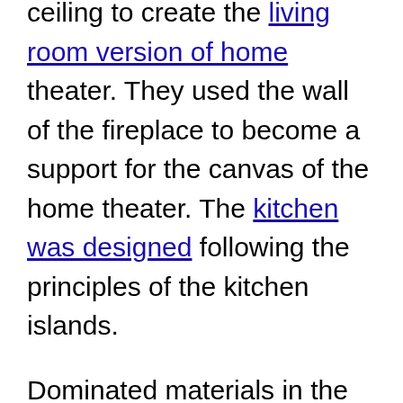ceiling to create the living room version of home theater. They used the wall of the fireplace to become a support for the canvas of the home theater. The kitchen was designed following the principles of the kitchen islands.
Dominated materials in the space are brushed and polished aluminum as well as glass and ebony wood. There is also an interesting detail in space that forms an element of artificial greenhouse garden.